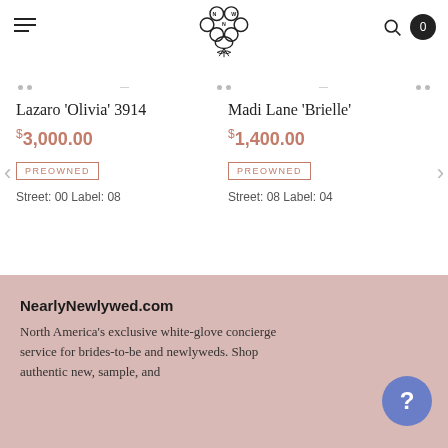[Figure (logo): NNW flower bouquet logo in outline style]
Lazaro 'Olivia' 3914
$3,000.00
PREOWNED
Street: 00 Label: 08
Madi Lane 'Brielle'
$1,400.00
PREOWNED
Street: 08 Label: 04
NearlyNewlywed.com
North America's exclusive white-glove concierge service for brides-to-be and newlyweds. Shop authentic new, sample, and